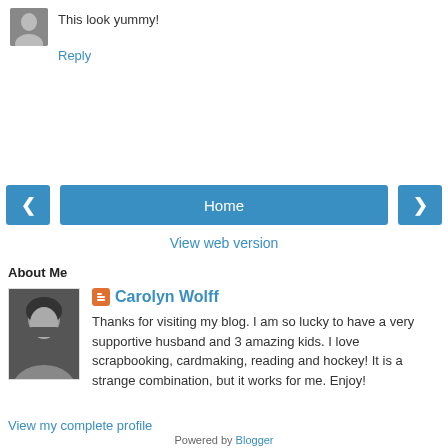[Figure (photo): Small avatar photo of a person]
This look yummy!
Reply
Home
View web version
About Me
[Figure (photo): Black and white photo of Carolyn Wolff]
Carolyn Wolff
Thanks for visiting my blog. I am so lucky to have a very supportive husband and 3 amazing kids. I love scrapbooking, cardmaking, reading and hockey! It is a strange combination, but it works for me. Enjoy!
View my complete profile
Powered by Blogger